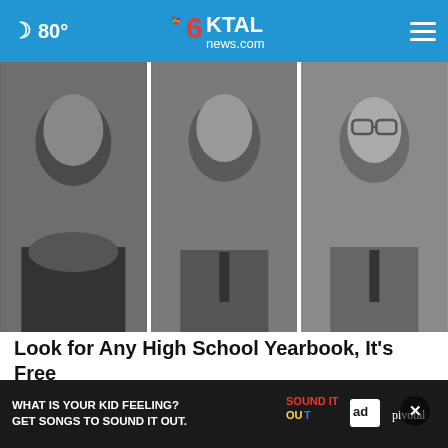🌙 80° | 6KTAL news.com
[Figure (photo): Three black-and-white high school yearbook portrait photos side by side: a young woman on the left, a young man in the center, and a young man with glasses on the right.]
Look for Any High School Yearbook, It's Free
Classmates
[Figure (photo): Color photo showing people on a street, partially cropped, with legs and ground visible.]
[Figure (infographic): Advertisement banner: 'WHAT IS YOUR KID FEELING? GET SONGS TO SOUND IT OUT.' with Sound It Out, Ad Council, and Pivotal logos.]